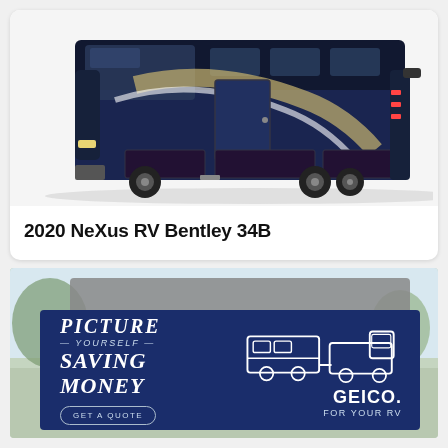[Figure (photo): Photo of a large dark blue luxury Class A motorhome (2020 NeXus RV Bentley 34B) on white background, shown from front-left angle with slide-out extended]
2020 NeXus RV Bentley 34B
[Figure (photo): GEICO advertisement banner with dark blue background showing an illustrated truck and RV trailer. Text reads: PICTURE YOURSELF SAVING MONEY, GET A QUOTE, GEICO FOR YOUR RV]